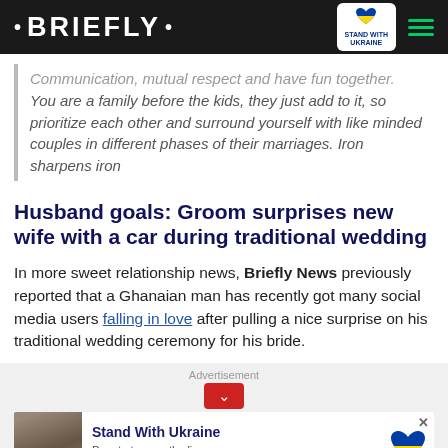• BRIEFLY •
Communication, mutual respect and have fun together. You are a family before the kids, they just add to it, so prioritize each other and surround yourself with like minded couples in different phases of their marriages. Iron sharpens iron
Husband goals: Groom surprises new wife with a car during traditional wedding
In more sweet relationship news, Briefly News previously reported that a Ghanaian man has recently got many social media users falling in love after pulling a nice surprise on his traditional wedding ceremony for his bride.
[Figure (infographic): Stand With Ukraine donation advertisement banner with Ukrainian flag heart icon and text: Stand With Ukraine - Donate to save the lives of millions of children]